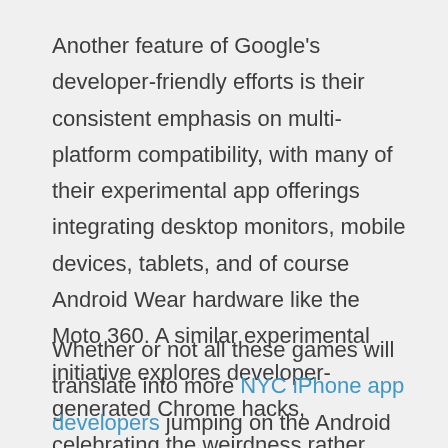Another feature of Google's developer-friendly efforts is their consistent emphasis on multi-platform compatibility, with many of their experimental app offerings integrating desktop monitors, mobile devices, tablets, and of course Android Wear hardware like the Moto 360. A similar experimental initiative explores developer-generated Chrome hacks, celebrating the weirdness rather than shunning it as many platforms undoubtedly would.
Whether or not all these games will translate into more NYC iPhone app developers jumping on the Android train, however, remains to be seen.